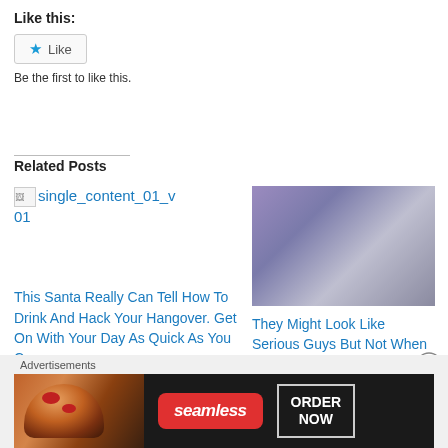Like this:
★ Like
Be the first to like this.
Related Posts
single_content_01_v 01
This Santa Really Can Tell How To Drink And Hack Your Hangover. Get On With Your Day As Quick As You Can
[Figure (photo): Blurred purple and grey abstract image used as thumbnail for related post about guys smoking]
They Might Look Like Serious Guys But Not When Smoking
Advertisements
[Figure (screenshot): Seamless food delivery advertisement banner with pizza image, Seamless logo, and ORDER NOW button]